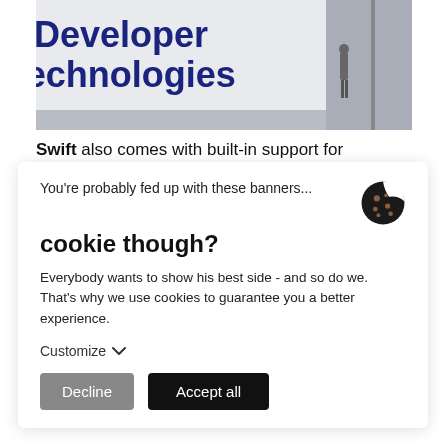[Figure (photo): A large sign reading 'Developer Technologies' in bold dark blue text on a white wall in a large indoor space. A person stands to the right of the sign near a pole.]
Swift also comes with built-in support for
You're probably fed up with these banners...
cookie though?
Everybody wants to show his best side - and so do we. That's why we use cookies to guarantee you a better experience.
Customize ∨
Decline
Accept all